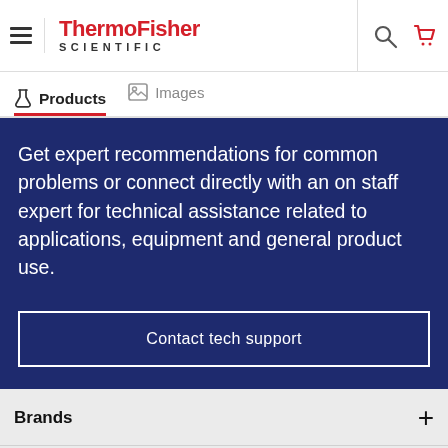ThermoFisher SCIENTIFIC
Products  Images
Get expert recommendations for common problems or connect directly with an on staff expert for technical assistance related to applications, equipment and general product use.
Contact tech support
Brands
Shopping Tools